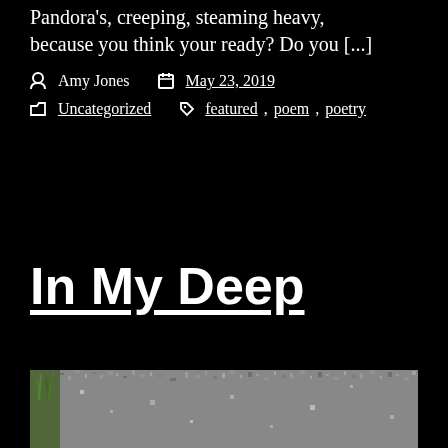Pandora's, creeping, steaming heavy, because you think your ready? Do you [...]
Amy Jones   May 23, 2019
Uncategorized   featured, poem, poetry
In My Deep
[Figure (photo): Close-up photograph of a granite or stone surface with grass visible at the left edge]